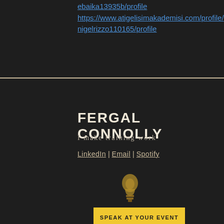ebaika13935b/profile https://www.atigelisimakademisi.com/profile/nigelrizzo110165/profile
FERGAL CONNOLLY
I make training work
LinkedIn | Email | Spotify
[Figure (illustration): Small golden lightbulb icon]
SPEAK AT YOUR EVENT